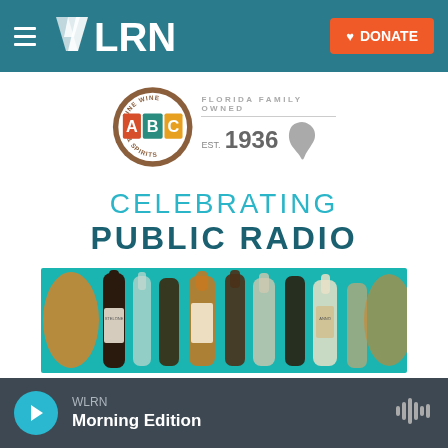WLRN — DONATE
[Figure (logo): ABC Fine Wine & Spirits logo with 'Florida Family Owned Est. 1936' text and Florida state silhouette]
CELEBRATING PUBLIC RADIO
[Figure (photo): Horizontal banner photo showing various wine and spirits bottles arranged on a teal background]
[Figure (screenshot): WLRN audio player bar showing Morning Edition, with play button and audio waveform icon]